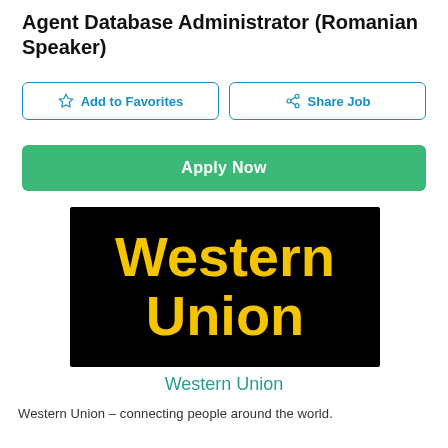Agent Database Administrator (Romanian Speaker)
Add to Favorites
Share Job
Apply Now
[Figure (logo): Western Union logo: yellow bold text 'Western Union' on black background]
Western Union
Western Union – connecting people around the world.
See more jobs from this location
See more jobs from this company
See more Database Administrator jobs